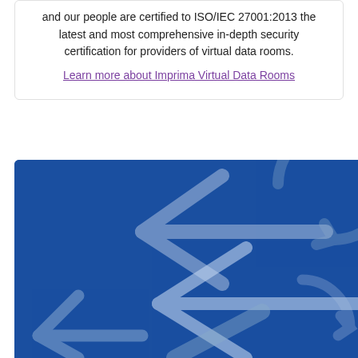and our people are certified to ISO/IEC 27001:2013 the latest and most comprehensive in-depth security certification for providers of virtual data rooms.
Learn more about Imprima Virtual Data Rooms
[Figure (photo): Blue background image with white/light grey arrow or recycling-type arrow symbols overlaid, partially cropped]